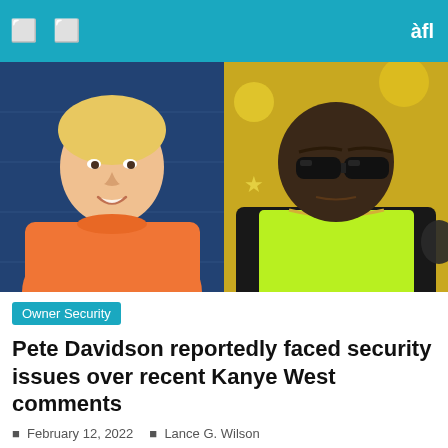Navigation bar with icons
[Figure (photo): Side-by-side photos: left shows Pete Davidson in an orange shirt against a blue studio background; right shows Kanye West wearing dark glasses and a yellow-green shirt with a black jacket against a gold decorative background.]
Owner Security
Pete Davidson reportedly faced security issues over recent Kanye West comments
February 12, 2022   Lance G. Wilson
At Saturday Night Live, Pete Davidson is usually the one behind the wheel when it comes to poking fun at public figures and their way of life with jokes. His self-deprecating